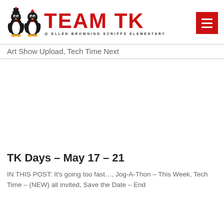[Figure (logo): Team TK @ Ellen Browning Scripps Elementary logo with two penguin characters and red text]
Art Show Upload, Tech Time Next
TK Days – May 17 – 21
IN THIS POST:  It's going too fast…, Jog-A-Thon – This Week, Tech Time – (NEW) all invited, Save the Date – End